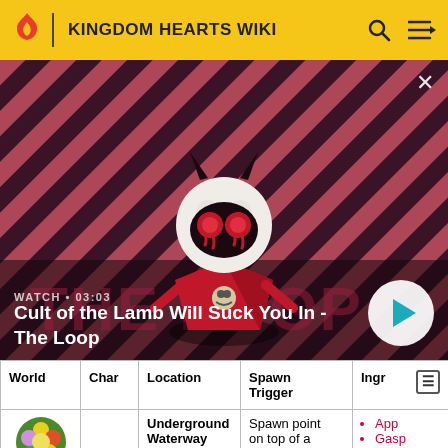KINGDOM HEARTS WIKI
[Figure (screenshot): Video thumbnail for 'Cult of the Lamb Will Suck You In - The Loop' on Kingdom Hearts Wiki, showing a cartoon lamb character with red eyes and devil horns against a red striped background. Duration shown: 03:03.]
WATCH • 03:03
Cult of the Lamb Will Suck You In - The Loop
| World | Char | Location | Spawn Trigger | Ingr |
| --- | --- | --- | --- | --- |
| [world image] |  | Underground Waterway | Spawn point on top of a | App
Gasp |